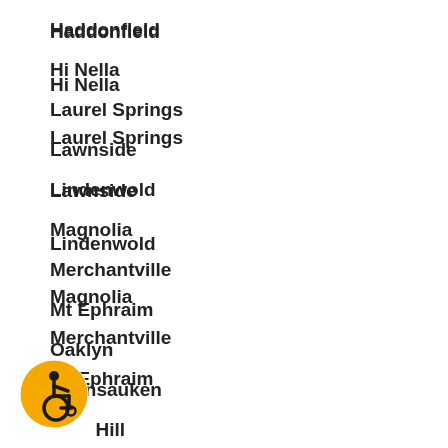Haddonfield
Hi Nella
Laurel Springs
Lawnside
Lindenwold
Magnolia
Merchantville
Mt Ephraim
Oaklyn
Pennsauken
Pine Hill
Runnemede
[Figure (illustration): Orange circular accessibility icon with wheelchair user symbol in black]